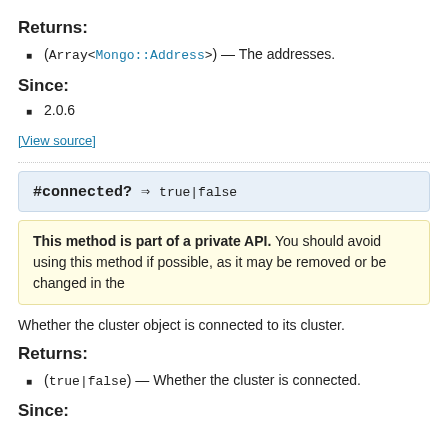Returns:
(Array<Mongo::Address>) — The addresses.
Since:
2.0.6
[View source]
#connected? ⇒ true|false
This method is part of a private API. You should avoid using this method if possible, as it may be removed or be changed in the future.
Whether the cluster object is connected to its cluster.
Returns:
(true|false) — Whether the cluster is connected.
Since: